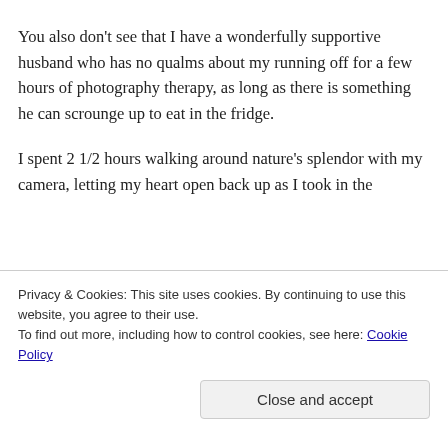You also don't see that I have a wonderfully supportive husband who has no qualms about my running off for a few hours of photography therapy, as long as there is something he can scrounge up to eat in the fridge.
I spent 2 1/2 hours walking around nature's splendor with my camera, letting my heart open back up as I took in the
Privacy & Cookies: This site uses cookies. By continuing to use this website, you agree to their use.
To find out more, including how to control cookies, see here: Cookie Policy